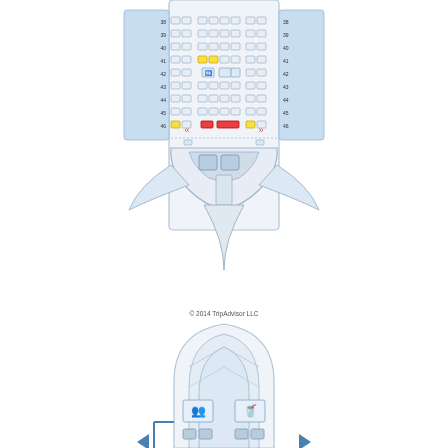[Figure (schematic): Aircraft seat map diagram showing the tail/rear section of a plane (top view) with rows 38-46 of economy seats, exit rows marked, lavatories, and the tail cone. Below is a second diagram showing the front nose section of the aircraft with lavatory and galley icons, and passenger door arrows.]
© 2014 TripAdvisor LLC